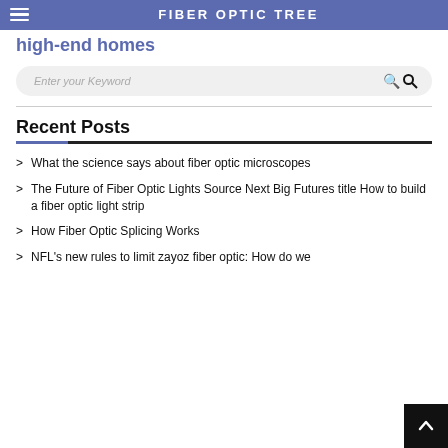high-end homes | FIBER OPTIC TREE
[Figure (screenshot): Search bar with placeholder text 'Enter your Keyword' and a search icon]
Recent Posts
What the science says about fiber optic microscopes
The Future of Fiber Optic Lights Source Next Big Futures title How to build a fiber optic light strip
How Fiber Optic Splicing Works
NFL's new rules to limit zayoz fiber optic: How do we